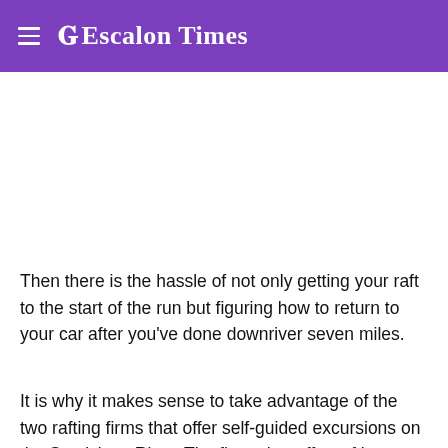Escalon Times
Then there is the hassle of not only getting your raft to the start of the run but figuring how to return to your car after you've done downriver seven miles.
It is why it makes sense to take advantage of the two rafting firms that offer self-guided excursions on the Stanislaus River. The firms that offer rafting out of Knights Ferry are Sunshine Rafting